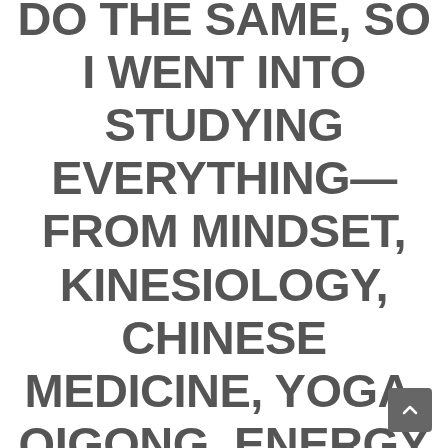DO THE SAME, SO I WENT INTO STUDYING EVERYTHING—FROM MINDSET, KINESIOLOGY, CHINESE MEDICINE, YOGA, QIGONG, ENERGY WORK, HYPNOSIS, NLP, DIFFERENT TYPES OF MOVEMENT, TO ALL KINDS OF HEALING MODALITIES. EVERYTHING I COULD TO